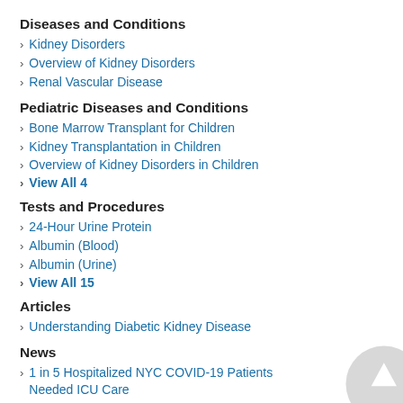Diseases and Conditions
Kidney Disorders
Overview of Kidney Disorders
Renal Vascular Disease
Pediatric Diseases and Conditions
Bone Marrow Transplant for Children
Kidney Transplantation in Children
Overview of Kidney Disorders in Children
View All 4
Tests and Procedures
24-Hour Urine Protein
Albumin (Blood)
Albumin (Urine)
View All 15
Articles
Understanding Diabetic Kidney Disease
News
1 in 5 Hospitalized NYC COVID-19 Patients Needed ICU Care
1 in 5 Patients on Kidney Dialysis Say No to COVID-19 Vaccine: Study